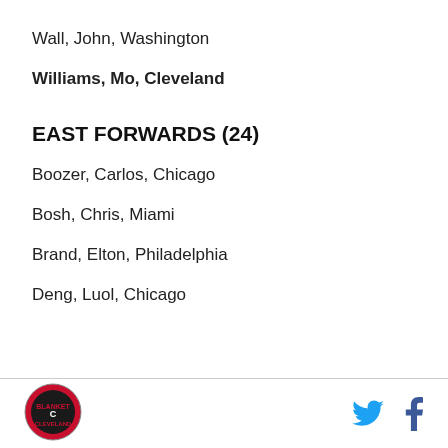Wall, John, Washington
Williams, Mo, Cleveland
EAST FORWARDS (24)
Boozer, Carlos, Chicago
Bosh, Chris, Miami
Brand, Elton, Philadelphia
Deng, Luol, Chicago
Cleveland logo, Twitter icon, Facebook icon